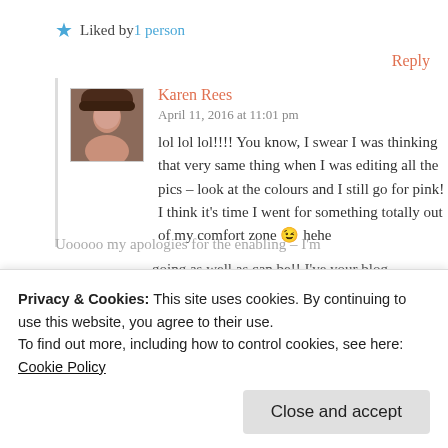★ Liked by 1 person
Reply
Karen Rees
April 11, 2016 at 11:01 pm
lol lol lol!!!! You know, I swear I was thinking that very same thing when I was editing all the pics – look at the colours and I still go for pink! I think it's time I went for something totally out of my comfort zone 😉 hehe
Uooooo my apologies for the enabling – I'm going as well as can be!! I've your blog
Privacy & Cookies: This site uses cookies. By continuing to use this website, you agree to their use.
To find out more, including how to control cookies, see here: Cookie Policy
Close and accept